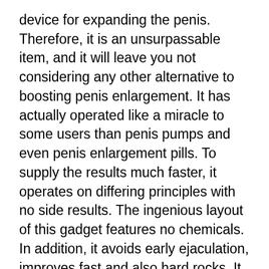device for expanding the penis. Therefore, it is an unsurpassable item, and it will leave you not considering any other alternative to boosting penis enlargement. It has actually operated like a miracle to some users than penis pumps and even penis enlargement pills. To supply the results much faster, it operates on differing principles with no side results. The ingenious layout of this gadget features no chemicals. In addition, it avoids early ejaculation, improves fast and also hard rocks. It raises the size of your penis by 3 inches as well as repairs curvature.
Stats from research study performed indicate that this device can increase the penis size maximally. I likewise assist to identify the gravity of enjoyment. In old ages, the penis